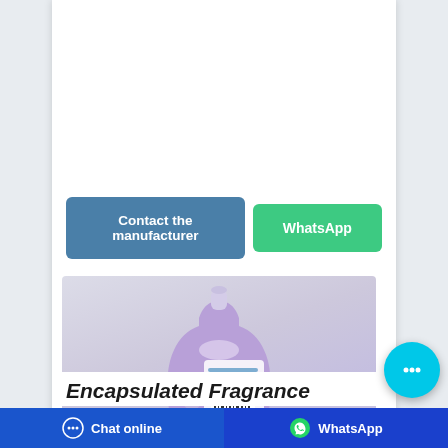[Figure (other): Two call-to-action buttons: 'Contact the manufacturer' (blue) and 'WhatsApp' (green)]
[Figure (photo): Purple laundry detergent bottle (back view) with label, on a light gray-white gradient background]
Encapsulated Fragrance
[Figure (other): Bottom navigation bar with 'Chat online' button (dark blue, left) and 'WhatsApp' button (dark blue, right), plus a floating cyan chat bubble button]